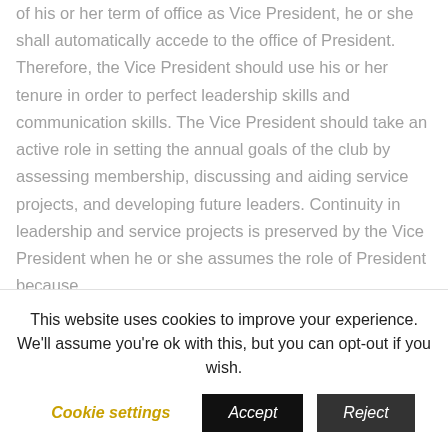of his or her term of office as Vice President, he or she shall automatically accede to the office of President. Therefore, the Vice President should use his or her tenure in order to perfect leadership skills and communication skills. The Vice President should take an active role in setting the annual goals of the club by assessing membership, discussing and aiding service projects, and developing future leaders. Continuity in leadership and service projects is preserved by the Vice President when he or she assumes the role of President because
This website uses cookies to improve your experience. We'll assume you're ok with this, but you can opt-out if you wish.
Cookie settings  Accept  Reject